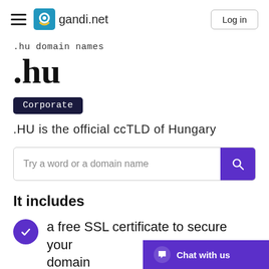gandi.net — Log in
.hu domain names
.hu
Corporate
.HU is the official ccTLD of Hungary
Try a word or a domain name
It includes
a free SSL certificate to secure your domain
Chat with us